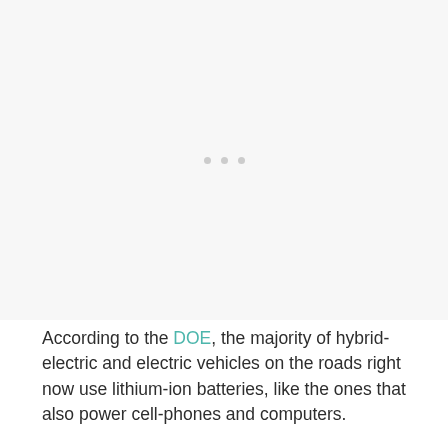[Figure (other): A mostly blank/white area with three small grey dots centered near the middle, suggesting a loading placeholder or image placeholder area.]
According to the DOE, the majority of hybrid-electric and electric vehicles on the roads right now use lithium-ion batteries, like the ones that also power cell-phones and computers.